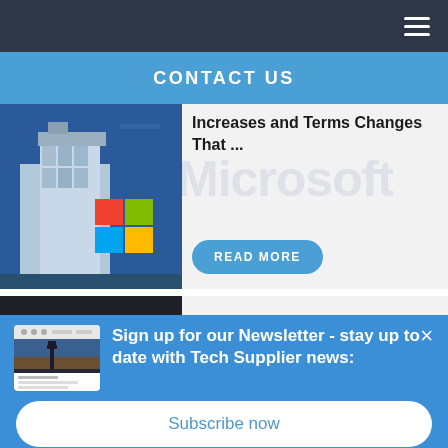Navigation bar with hamburger menu
CONTACT US
Increases and Terms Changes That ...
[Figure (photo): Microsoft building exterior with colorful logo squares (red, orange, green, blue) against blue sky]
[Figure (screenshot): Microsoft watermark text overlay on article card]
READ MORE
[Figure (photo): Dark tech image strip - second article card]
Sign up for our Newsletter - stay up to date with Tech Supplier news:
[Figure (screenshot): Newsletter thumbnail showing a publication cover with city silhouette image]
Subscribe now